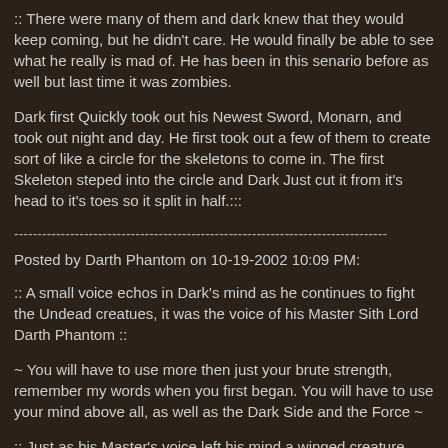:: There were many of them and dark knew that they would keep coming, but he didn't care. He would finally be able to see what he really is mad of. He has been in this senario before as well but last time it was zombies.
Dark first Quickly took out his Newest Sword, Monarn, and took out night and day. He first took out a few of them to create sort of like a circle for the skeletons to come in. The first Skeleton steped into the circle and Dark Just cut it from it's head to it's toes so it split in half.:::
--------------------------------------------------------------------------------
Posted by Darth Phantom on 10-19-2002 10:09 PM:
:: A small voice echos in Dark's mind as he continues to fight the Undead creatues, it was the voice of his Master Sith Lord Darth Phantom ::
~ You will have to use more then just your brute strength, remember my words when you first began. You will have to use your mind above all, as well as the Dark Side and the Force ~
:: Just as his Master's voice left his mind a winged creature swooped out of the sky above and slashed deep into the arm of Dark, his blood formed a small pool below.
The winged creature circled once more before landing before him. The creature was at least fifteen feet hight, it's head alone three. The creature had three hude talons on each of it's four arms and feet, it's teeth alone were a foot in length. The creature moved closer for the kill